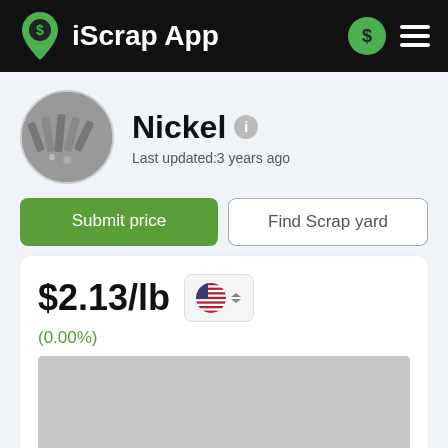iScrap App
Nickel
Last updated:3 years ago
Submit price
Find Scrap yard
$2.13/lb
(0.00%)
[Figure (other): Gray placeholder chart area]